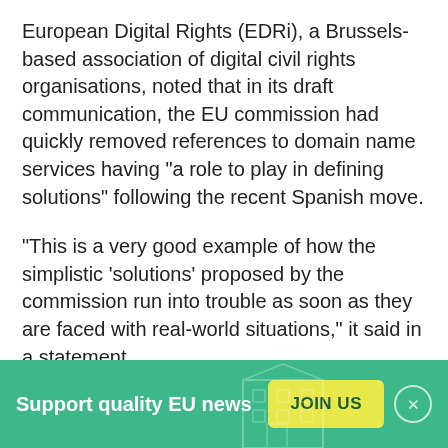European Digital Rights (EDRi), a Brussels-based association of digital civil rights organisations, noted that in its draft communication, the EU commission had quickly removed references to domain name services having "a role to play in defining solutions" following the recent Spanish move.
"This is a very good example of how the simplistic 'solutions' proposed by the commission run into trouble as soon as they are faced with real-world situations," it said in a statement.
The Napalm girl and Facebook
[Figure (infographic): Green banner advertisement reading 'Support quality EU news' with a yellow JOIN US button and a close (x) button. Background shows a faint building illustration.]